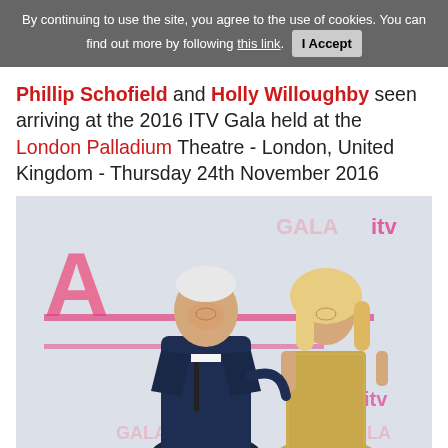By continuing to use the site, you agree to the use of cookies. You can find out more by following this link. I Accept
Phillip Schofield and Holly Willoughby seen arriving at the 2016 ITV Gala held at the London Palladium Theatre - London, United Kingdom - Thursday 24th November 2016
[Figure (photo): Phillip Schofield and Holly Willoughby posing together in front of an ITV Gala branded backdrop with pink GALA and ITV logos. Phillip is wearing a dark navy suit with a black tie, Holly is wearing a sparkly silver/gold dress.]